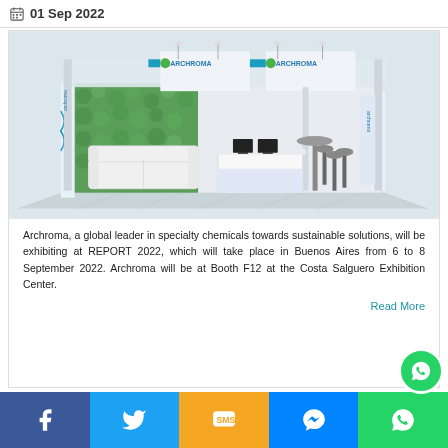01 Sep 2022
[Figure (photo): 3D render of an Archroma exhibition booth with white structure, green moss wall, white sofa, reception desk, bar stools, and Archroma branding on top banners. Booth is styled for REPORT 2022 trade show.]
Archroma, a global leader in specialty chemicals towards sustainable solutions, will be exhibiting at REPORT 2022, which will take place in Buenos Aires from 6 to 8 September 2022. Archroma will be at Booth F12 at the Costa Salguero Exhibition Center.
Read More